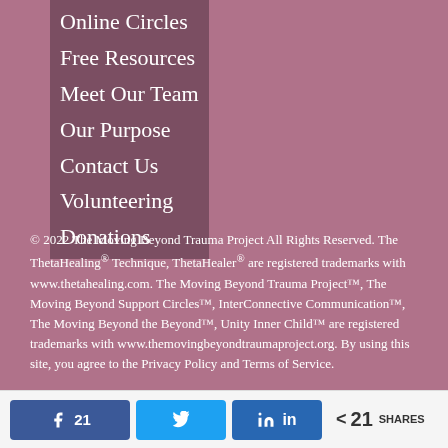Online Circles
Free Resources
Meet Our Team
Our Purpose
Contact Us
Volunteering
Donations
© 2022 The Moving Beyond Trauma Project All Rights Reserved. The ThetaHealing® Technique, ThetaHealer® are registered trademarks with www.thetahealing.com. The Moving Beyond Trauma Project™, The Moving Beyond Support Circles™, InterConnective Communication™, The Moving Beyond the Beyond™, Unity Inner Child™ are registered trademarks with www.themovingbeyondtraumaproject.org. By using this site, you agree to the Privacy Policy and Terms of Service.
[Figure (other): Social share buttons: Facebook (21 shares), Twitter, LinkedIn, and total share count of 21 SHARES]